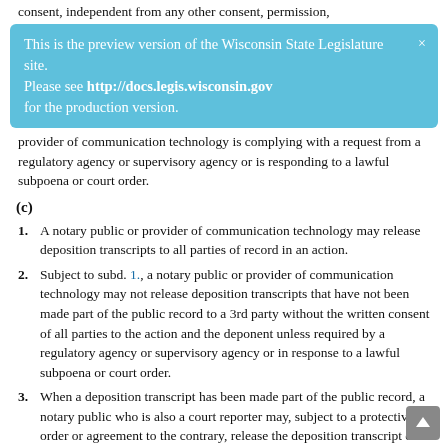consent, independent from any other consent, permission,
This is the preview version of the Wisconsin State Legislature site. Please see http://docs.legis.wisconsin.gov for the production version.
provider of communication technology is complying with a request from a regulatory agency or supervisory agency or is responding to a lawful subpoena or court order.
(c)
1. A notary public or provider of communication technology may release deposition transcripts to all parties of record in an action.
2. Subject to subd. 1., a notary public or provider of communication technology may not release deposition transcripts that have not been made part of the public record to a 3rd party without the written consent of all parties to the action and the deponent unless required by a regulatory agency or supervisory agency or in response to a lawful subpoena or court order.
3. When a deposition transcript has been made part of the public record, a notary public who is also a court reporter may, subject to a protective order or agreement to the contrary, release the deposition transcript or sell the transcript to 3rd parties without the consent of the pe